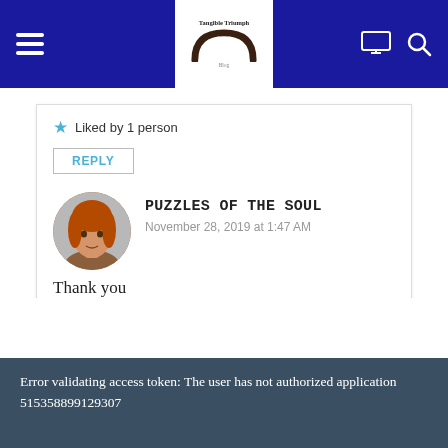Tangible Triumph — navigation bar with hamburger menu, logo, monitor icon, search icon
Liked by 1 person
REPLY
PUZZLES OF THE SOUL
November 28, 2019 at 1:47 AM
Thank you
Like
Error validating access token: The user has not authorized application 515358899129307